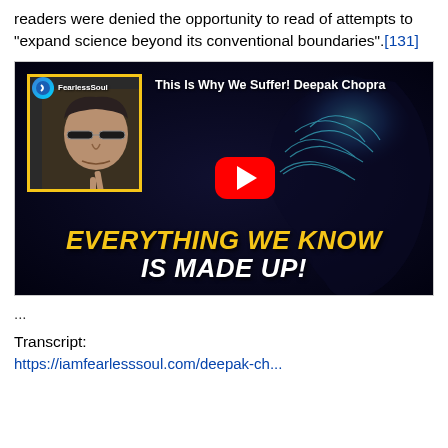readers were denied the opportunity to read of attempts to "expand science beyond its conventional boundaries".[131]
[Figure (screenshot): YouTube video thumbnail screenshot: 'This Is Why We Suffer! Deepak Chopra' with a man wearing glasses and the text 'EVERYTHING WE KNOW IS MADE UP!' overlay in yellow and white italic bold font. Red YouTube play button in center. Channel logo top-left with 'FearlessSoul' branding.]
...
Transcript:
https://iamfearlesssoul.com/deepak-ch...